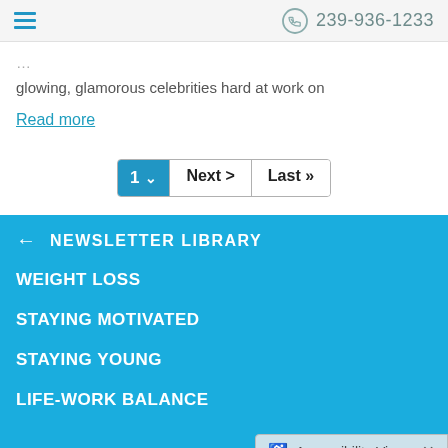☰  239-936-1233
glowing, glamorous celebrities hard at work on
Read more
1  ∨  Next >  Last ≫
NEWSLETTER LIBRARY
WEIGHT LOSS
STAYING MOTIVATED
STAYING YOUNG
LIFE-WORK BALANCE
Accessibility View  ×